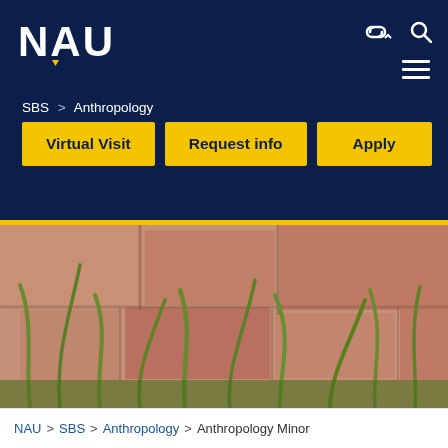[Figure (logo): NAU (Northern Arizona University) logo in white on dark navy background]
SBS > Anthropology
Virtual Visit
Request info
Apply
[Figure (photo): Outdoor photo of green grass blades growing in front of red/sandstone rock wall background]
NAU > SBS > Anthropology > Anthropology Minor